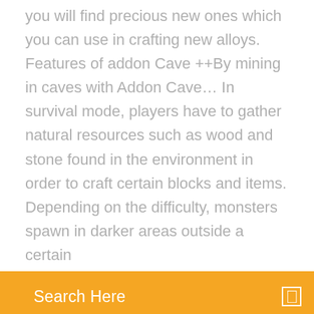you will find precious new ones which you can use in crafting new alloys. Features of addon Cave ++By mining in caves with Addon Cave… In survival mode, players have to gather natural resources such as wood and stone found in the environment in order to craft certain blocks and items. Depending on the difficulty, monsters spawn in darker areas outside a certain
Search Here
download free Minecraft skins for your character. Today we'll be showcasing 12 of the greatest video game Minecraft skins across all the different versions. Since, you know, we are a video game site. Download map V6 SkyBlock for Minecraft Bedrock Edition 1. 14. mcworld format for iOS Minecraft Pocket Edition Maps & Mods – The largest collection of . This is a great map to use as a minigames spawn, or to customize and use for your own… Download new version of the minecraft edition. Multi platform supported. Try for Free. Download latest version of the Minecraft APK here for Android.